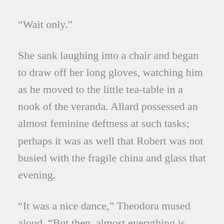"Wait only."
She sank laughing into a chair and began to draw off her long gloves, watching him as he moved to the little tea-table in a nook of the veranda. Allard possessed an almost feminine deftness at such tasks; perhaps it was as well that Robert was not busied with the fragile china and glass that evening.
"It was a nice dance," Theodora mused aloud. "But then, almost everything is nice. Only I